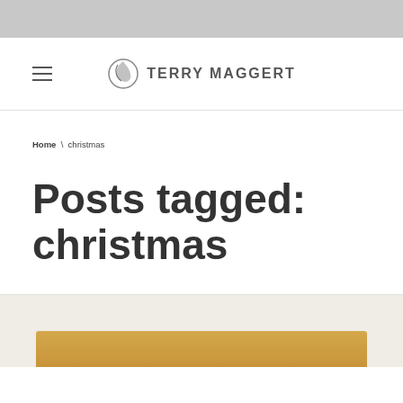TERRY MAGGERT
Home \ christmas
Posts tagged: christmas
[Figure (photo): Partial view of a food photo at bottom of page, showing warm golden/orange tones suggestive of a holiday dish]